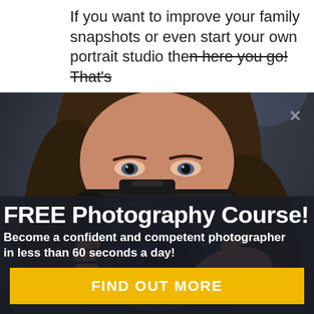If you want to improve your family snapshots or even start your own portrait studio then here you go! That's
[Figure (photo): Woman holding a DSLR camera up to her face, obscuring most of her face except her eyes, dark blurred background]
FREE Photography Course!
Become a confident and competent photographer in less than 60 seconds a day!
FIND OUT MORE